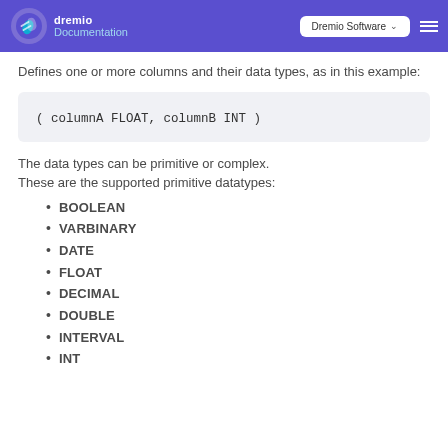dremio Documentation | Dremio Software
Defines one or more columns and their data types, as in this example:
The data types can be primitive or complex. These are the supported primitive datatypes:
BOOLEAN
VARBINARY
DATE
FLOAT
DECIMAL
DOUBLE
INTERVAL
INT